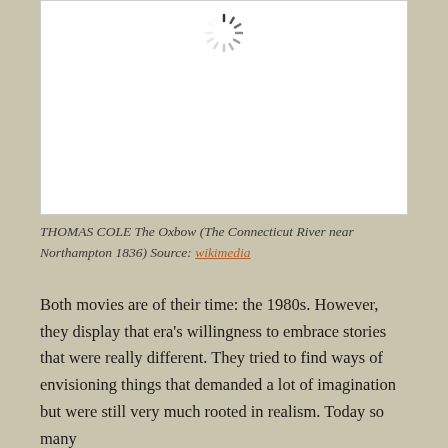[Figure (photo): Loading spinner icon (spinning circle/wheel) centered in a white image box, representing an image that is still loading.]
THOMAS COLE The Oxbow (The Connecticut River near Northampton 1836) Source: wikimedia
Both movies are of their time: the 1980s. However, they display that era's willingness to embrace stories that were really different. They tried to find ways of envisioning things that demanded a lot of imagination but were still very much rooted in realism. Today so many